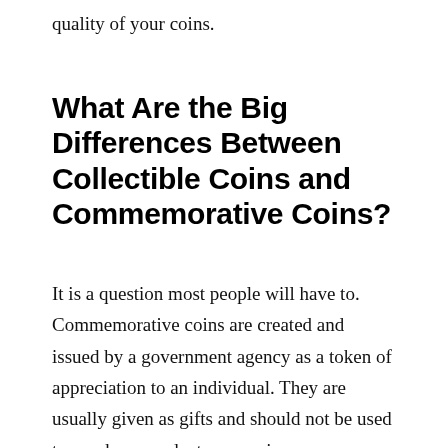quality of your coins.
What Are the Big Differences Between Collectible Coins and Commemorative Coins?
It is a question most people will have to. Commemorative coins are created and issued by a government agency as a token of appreciation to an individual. They are usually given as gifts and should not be used to purchase products or services.